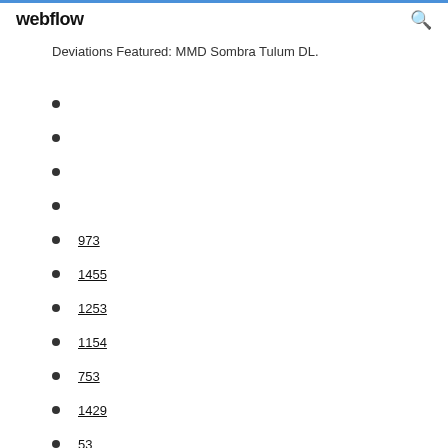webflow
Deviations Featured: MMD Sombra Tulum DL.
973
1455
1253
1154
753
1429
53